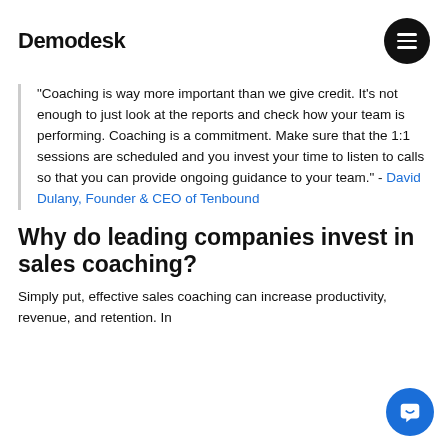Demodesk
“Coaching is way more important than we give credit. It’s not enough to just look at the reports and check how your team is performing. Coaching is a commitment. Make sure that the 1:1 sessions are scheduled and you invest your time to listen to calls so that you can provide ongoing guidance to your team.” - David Dulany, Founder & CEO of Tenbound
Why do leading companies invest in sales coaching?
Simply put, effective sales coaching can increase productivity, revenue, and retention. In